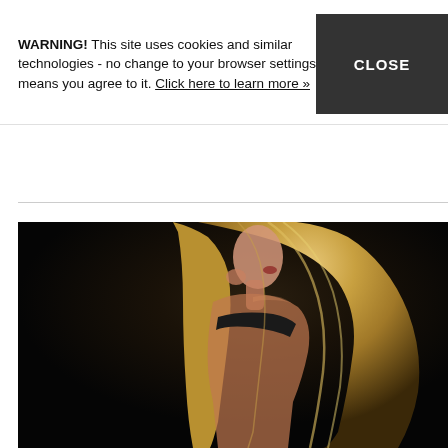WARNING! This site uses cookies and similar technologies - no change to your browser settings means you agree to it. Click here to learn more »
[Figure (photo): A blonde woman photographed from behind/side profile, wearing a black top, against a dark background. She has long wavy blonde hair and her hand is raised near her face.]